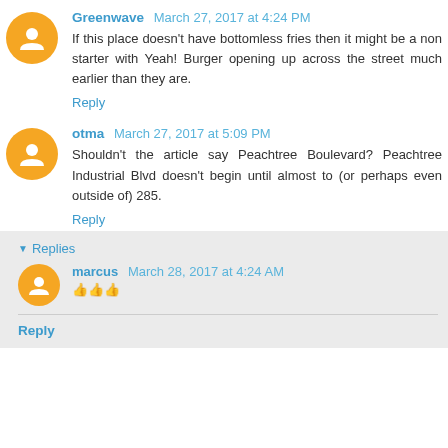Greenwave March 27, 2017 at 4:24 PM
If this place doesn't have bottomless fries then it might be a non starter with Yeah! Burger opening up across the street much earlier than they are.
Reply
otma March 27, 2017 at 5:09 PM
Shouldn't the article say Peachtree Boulevard? Peachtree Industrial Blvd doesn't begin until almost to (or perhaps even outside of) 285.
Reply
Replies
marcus March 28, 2017 at 4:24 AM
👍👍👍
Reply